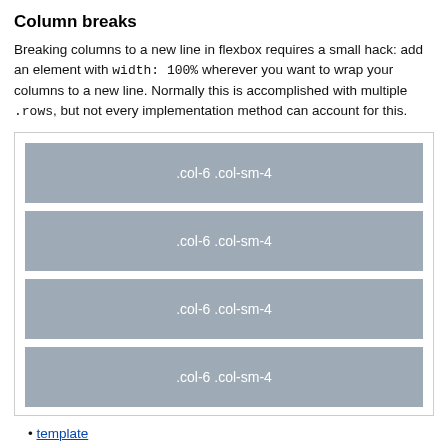Column breaks
Breaking columns to a new line in flexbox requires a small hack: add an element with width: 100% wherever you want to wrap your columns to a new line. Normally this is accomplished with multiple .rows, but not every implementation method can account for this.
[Figure (illustration): A demo box showing four stacked gray column blocks each labeled '.col-6 .col-sm-4']
template